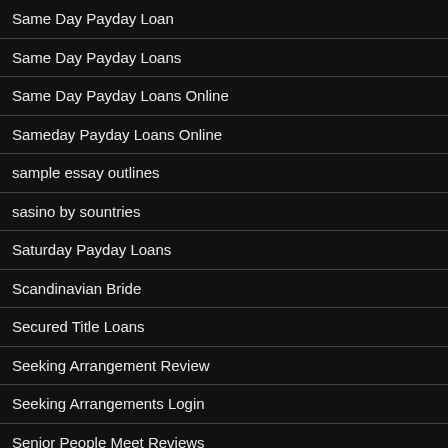Same Day Payday Loan
Same Day Payday Loans
Same Day Payday Loans Online
Sameday Payday Loans Online
sample essay outlines
sasino by sountries
Saturday Payday Loans
Scandinavian Bride
Secured Title Loans
Seeking Arrangement Review
Seeking Arrangements Login
Senior People Meet Reviews
Seniorpeoplemeet complitement gratuit